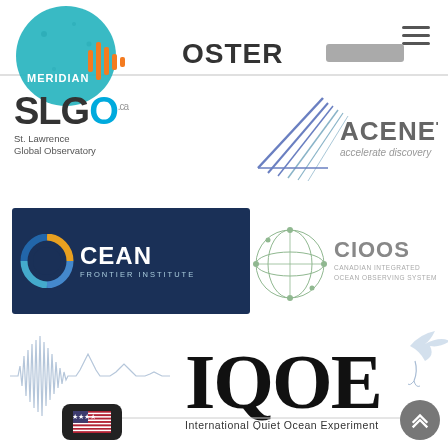[Figure (logo): Meridian circular logo with teal background and orange soundwave graphic, with text MERIDIAN]
[Figure (logo): FOSTER partial text logo in dark gray]
[Figure (logo): SLGO.ca — St. Lawrence Global Observatory logo with large stylized letters]
[Figure (logo): ACENET accelerate discovery logo with diagonal lines arrow graphic]
[Figure (logo): Ocean Frontier Institute logo — dark navy rectangle with multicolor circle O and white text OCEAN FRONTIER INSTITUTE]
[Figure (logo): CIOOS Canadian Integrated Ocean Observing System logo with network sphere graphic]
[Figure (logo): IQOE International Quiet Ocean Experiment logo with large serif letters, blue waveform left, seabird right]